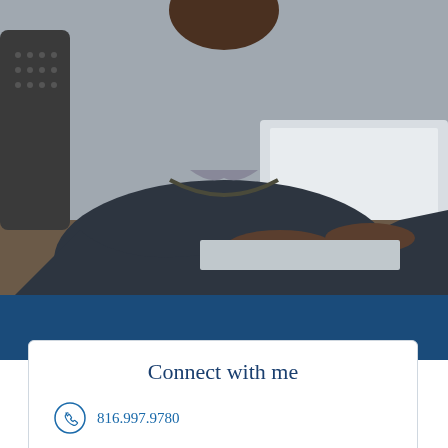[Figure (photo): Person in dark sweater typing on a laptop, seated at a desk, photographed from above the shoulders. Office setting.]
Connect with me
816.997.9780
Jerry.K.Fuller@ampf.com
Office Locations